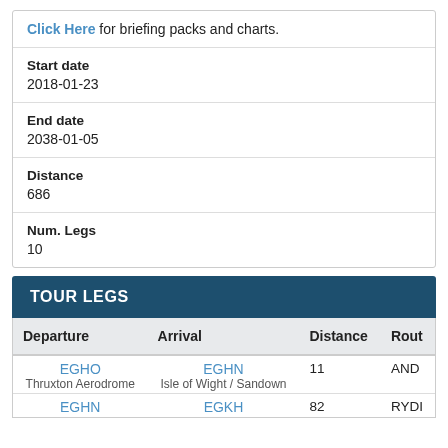Click Here for briefing packs and charts.
Start date
2018-01-23
End date
2038-01-05
Distance
686
Num. Legs
10
TOUR LEGS
| Departure | Arrival | Distance | Rout |
| --- | --- | --- | --- |
| EGHO
Thruxton Aerodrome | EGHN
Isle of Wight / Sandown | 11 | AND |
| EGHN | EGKH | 82 | RYDI |